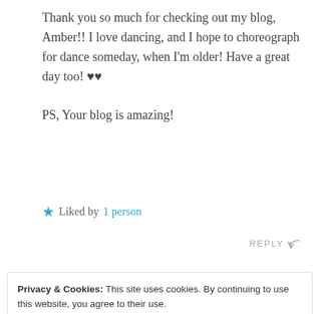Thank you so much for checking out my blog, Amber!! I love dancing, and I hope to choreograph for dance someday, when I'm older! Have a great day too! ♥♥

PS, Your blog is amazing!
★ Liked by 1 person
REPLY ↩
Privacy & Cookies: This site uses cookies. By continuing to use this website, you agree to their use. To find out more, including how to control cookies, see here: Cookie Policy
Close and accept